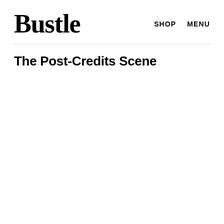Bustle
SHOP   MENU
The Post-Credits Scene